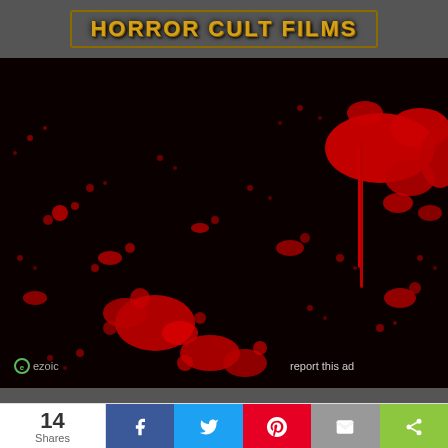HORROR CULT FILMS
[Figure (illustration): Black background with red blood splatter pattern covering the entire image area. Ezoic logo and 'report this ad' text overlay at the bottom.]
Copyright © 2022 HorrorCultFilms - Horror Movie Reviews, News and Interviews
14 Shares